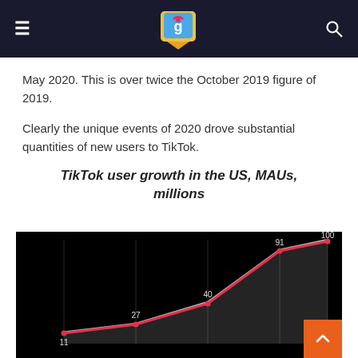Navigation bar with logo
May 2020. This is over twice the October 2019 figure of 2019.
Clearly the unique events of 2020 drove substantial quantities of new users to TikTok.
TikTok user growth in the US, MAUs, millions
[Figure (line-chart): TikTok user growth in the US, MAUs, millions]